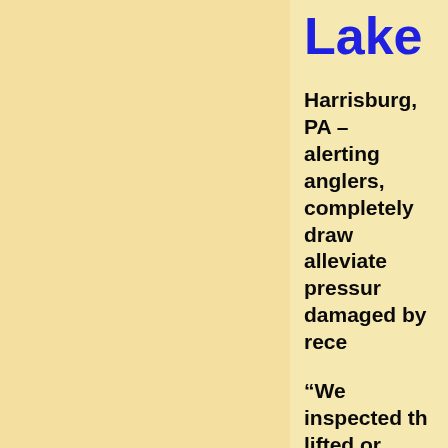Lake
Harrisburg, PA – alerting anglers, completely draw alleviate pressur damaged by rece
“We inspected th lifted or ‘heaved’ numerous cracks the PFBC Bureat been compromis its integrity. The drawdown of the